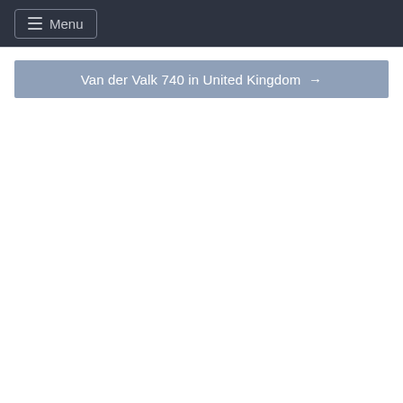Menu
Van der Valk 740 in United Kingdom →